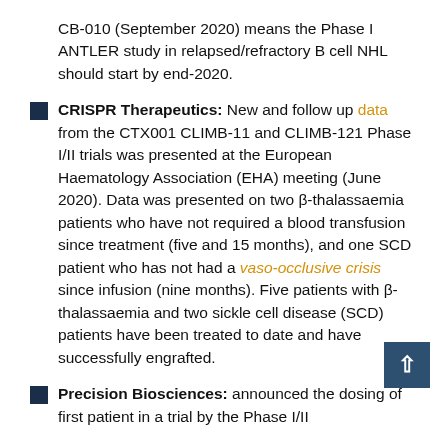CB-010 (September 2020) means the Phase I ANTLER study in relapsed/refractory B cell NHL should start by end-2020.
CRISPR Therapeutics: New and follow up data from the CTX001 CLIMB-11 and CLIMB-121 Phase I/II trials was presented at the European Haematology Association (EHA) meeting (June 2020). Data was presented on two β-thalassaemia patients who have not required a blood transfusion since treatment (five and 15 months), and one SCD patient who has not had a vaso-occlusive crisis since infusion (nine months). Five patients with β-thalassaemia and two sickle cell disease (SCD) patients have been treated to date and have successfully engrafted.
Precision Biosciences: announced the dosing of first patient in a trial by the Phase I/II...